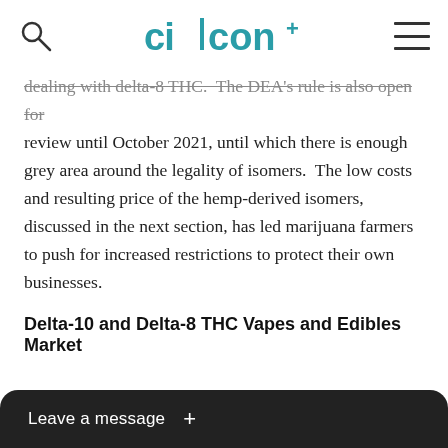CIICON+
dealing with delta-8 THC.  The DEA's rule is also open for review until October 2021, until which there is enough grey area around the legality of isomers.  The low costs and resulting price of the hemp-derived isomers, discussed in the next section, has led marijuana farmers to push for increased restrictions to protect their own businesses.
Delta-10 and Delta-8 THC Vapes and Edibles Market
Delta-8 and delta-10 THC are generally sold as a vape product, dabbing syringes and